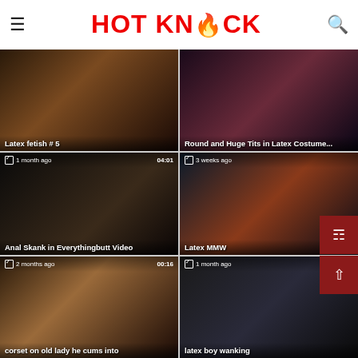HOT KNOCK
[Figure (screenshot): Video thumbnail: Latex fetish #5]
[Figure (screenshot): Video thumbnail: Round and Huge Tits in Latex Costume...]
[Figure (screenshot): Video thumbnail: Anal Skank in Everythingbutt Video, 1 month ago, 04:01]
[Figure (screenshot): Video thumbnail: Latex MMW, 3 weeks ago]
[Figure (screenshot): Video thumbnail: corset on old lady he cums into, 2 months ago, 00:16]
[Figure (screenshot): Video thumbnail: latex boy wanking, 1 month ago]